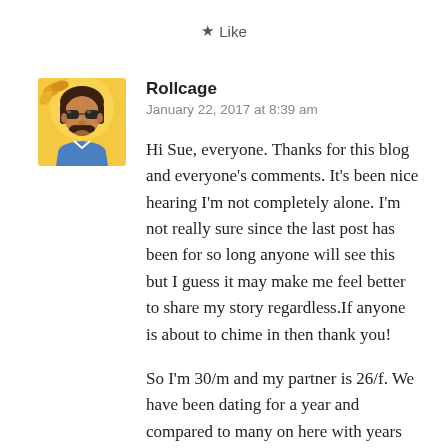[Figure (other): Like button with star icon]
[Figure (illustration): Avatar image of user Rollcage - illustrated character with dark hair, sunglasses, mustache, wearing a blue shirt against a yellow/orange background]
Rollcage
January 22, 2017 at 8:39 am
Hi Sue, everyone. Thanks for this blog and everyone’s comments. It’s been nice hearing I’m not completely alone. I’m not really sure since the last post has been for so long anyone will see this but I guess it may make me feel better to share my story regardless.If anyone is about to chime in then thank you!
So I’m 30/m and my partner is 26/f. We have been dating for a year and compared to many on here with years of